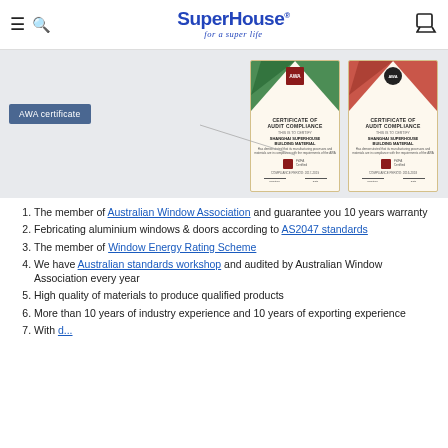SuperHouse — for a super life
[Figure (photo): AWA certificate banner showing two Certificate of Audit Compliance documents from Shanghai Superhouse Building Material, one with green chevron design and one with red chevron design.]
The member of Australian Window Association and guarantee you 10 years warranty
Febricating aluminium windows & doors according to AS2047 standards
The member of Window Energy Rating Scheme
We have Australian standards workshop and audited by Australian Window Association every year
High quality of materials to produce qualified products
More than 10 years of industry experience and 10 years of exporting experience
With...